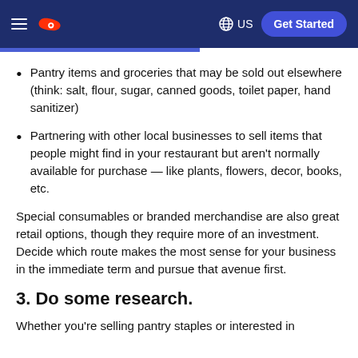DoorDash navigation bar with hamburger menu, DoorDash logo, globe icon US, and Get Started button
Pantry items and groceries that may be sold out elsewhere (think: salt, flour, sugar, canned goods, toilet paper, hand sanitizer)
Partnering with other local businesses to sell items that people might find in your restaurant but aren't normally available for purchase — like plants, flowers, decor, books, etc.
Special consumables or branded merchandise are also great retail options, though they require more of an investment. Decide which route makes the most sense for your business in the immediate term and pursue that avenue first.
3. Do some research.
Whether you're selling pantry staples or interested in